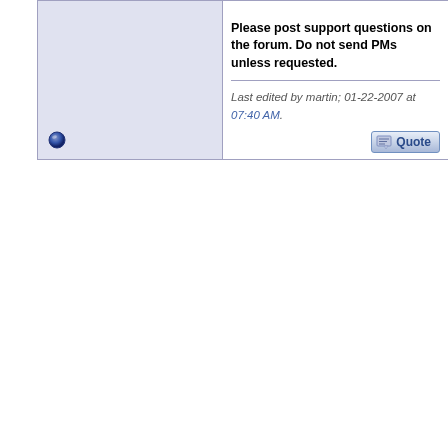Please post support questions on the forum. Do not send PMs unless requested.
Last edited by martin; 01-22-2007 at 07:40 AM.
[Figure (screenshot): Quote button partially visible at right edge]